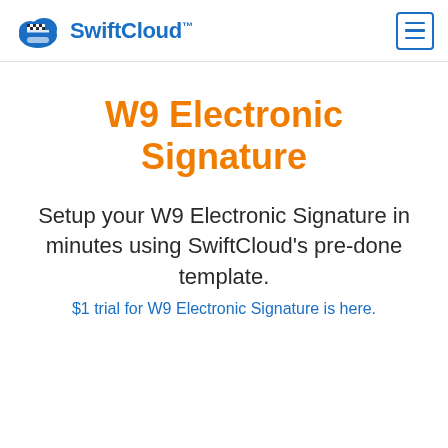SwiftCloud™
W9 Electronic Signature
Setup your W9 Electronic Signature in minutes using SwiftCloud's pre-done template.
$1 trial for W9 Electronic Signature is here.